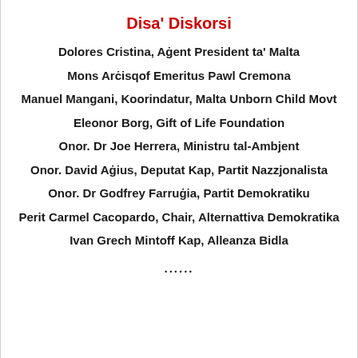Disa' Diskorsi
Dolores Cristina, Aġent President ta' Malta
Mons Arċisqof Emeritus Pawl Cremona
Manuel Mangani, Koorindatur, Malta Unborn Child Movt
Eleonor Borg, Gift of Life Foundation
Onor. Dr Joe Herrera, Ministru tal-Ambjent
Onor. David Aġius, Deputat Kap, Partit Nazzjonalista
Onor. Dr Godfrey Farruġia, Partit Demokratiku
Perit Carmel Cacopardo, Chair, Alternattiva Demokratika
Ivan Grech Mintoff Kap, Alleanza Bidla
......